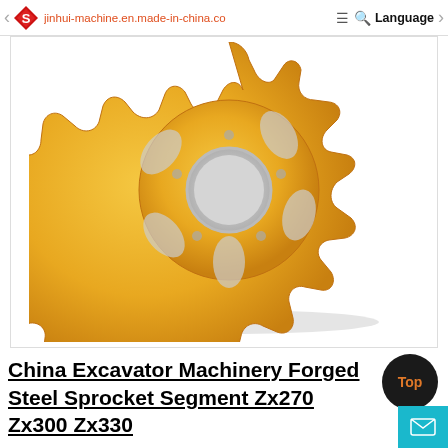jinhui-machine.en.made-in-china.co  Language
[Figure (photo): Yellow forged steel sprocket gear wheel for excavator machinery, viewed from front angle showing the toothed outer edge, oval cutouts, and central circular bore. White background.]
China Excavator Machinery Forged Steel Sprocket Segment Zx270 Zx300 Zx330